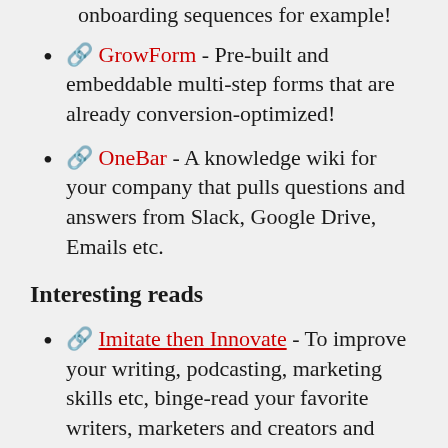onboarding sequences for example!
🔗 GrowForm - Pre-built and embeddable multi-step forms that are already conversion-optimized!
🔗 OneBar - A knowledge wiki for your company that pulls questions and answers from Slack, Google Drive, Emails etc.
Interesting reads
🔗 Imitate then Innovate - To improve your writing, podcasting, marketing skills etc, binge-read your favorite writers, marketers and creators and shamelessly copy their style. Then innovate.